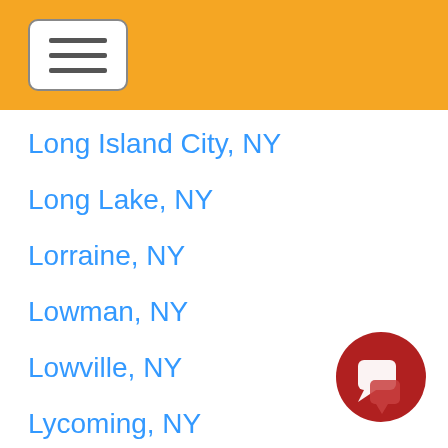[Figure (screenshot): Orange header bar with hamburger menu button (three horizontal lines in a rounded rectangle)]
Long Island City, NY
Long Lake, NY
Lorraine, NY
Lowman, NY
Lowville, NY
Lycoming, NY
Lynbrook, NY
Lyndonville, NY
[Figure (illustration): Red circular chat/message button in bottom right corner]